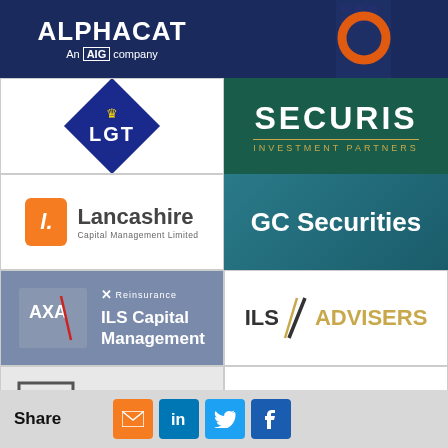[Figure (logo): ALPHACAT An AIG company logo - white text on dark navy blue background]
[Figure (logo): Orange circle/ring logo on dark navy/blue geometric pattern background]
[Figure (logo): LGT diamond logo - blue diamond with crown and LGT text, white background]
[Figure (logo): SECURIS Investment Partners logo - white text on dark teal/green background]
[Figure (logo): Lancashire Capital Management Limited logo - orange L icon with text, white background]
[Figure (logo): GC Securities logo - white text on teal/blue gradient background]
[Figure (logo): AXA XL Reinsurance ILS Capital Management logo - grey/blue background]
[Figure (logo): ILS Advisers logo - ILS with diagonal stripes and gold ADVISERS text, white background]
[Figure (logo): NEPHILA logo - geometric N icon and bold text, light grey background]
[Figure (logo): synpulse MC logo - orange text on white background]
Share
[Figure (infographic): Social share buttons: email (orange), LinkedIn (blue), Twitter (blue), Facebook (blue)]